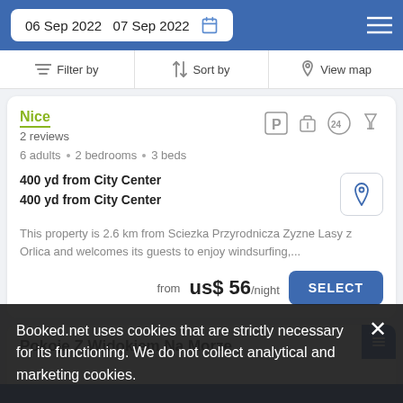06 Sep 2022   07 Sep 2022
Filter by   Sort by   View map
Nice
2 reviews
6 adults • 2 bedrooms • 3 beds
400 yd from City Center
400 yd from City Center
This property is 2.6 km from Sciezka Przyrodnicza Zyzne Lasy z Orlica and welcomes its guests to enjoy windsurfing,...
from us$ 56/night
SELECT
Pokoje Z Widokiem Na Morze
Booked.net uses cookies that are strictly necessary for its functioning. We do not collect analytical and marketing cookies.